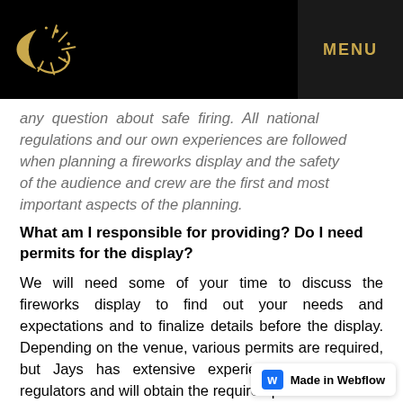MENU
any question about safe firing. All national regulations and our own experiences are followed when planning a fireworks display and the safety of the audience and crew are the first and most important aspects of the planning.
What am I responsible for providing? Do I need permits for the display?
We will need some of your time to discuss the fireworks display to find out your needs and expectations and to finalize details before the display. Depending on the venue, various permits are required, but Jays has extensive experience working with regulators and will obtain the required permits.
Jays will set up, shoot, and tear down the display, as well as clean up the shoot site. The pyrotechnician and assistants will maintain security at the immediate firing control and access to the firing site is the